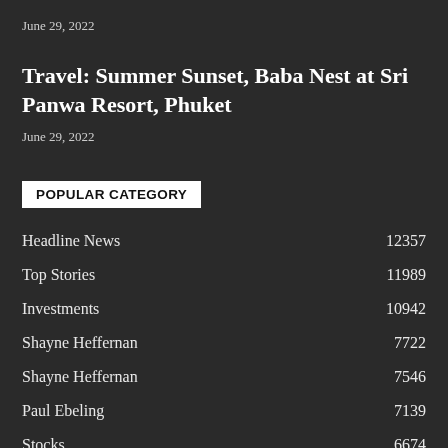June 29, 2022
Travel: Summer Sunset, Baba Nest at Sri Panwa Resort, Phuket
June 29, 2022
POPULAR CATEGORY
Headline News   12357
Top Stories   11989
Investments   10942
Shayne Heffernan   7722
Shayne Heffernan   7546
Paul Ebeling   7139
Stocks   6674